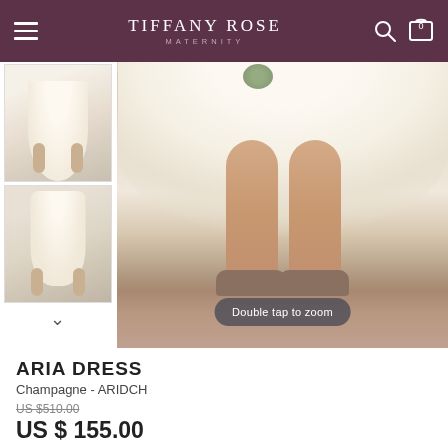TIFFANY ROSE MATERNITY
[Figure (photo): Product photos of a cream/champagne maternity dress (Aria Dress). Left column shows two small thumbnail images of the dress. Main large image shows the lower half of the dress with a model's legs and heels visible. A 'Double tap to zoom' tooltip overlay is shown at the bottom of the main image.]
ARIA DRESS
Champagne - ARIDCH
US $510.00
US $ 155.00
Colour
[Figure (illustration): Four color swatches: Champagne (golden beige), Ivory (off-white), Navy (dark blue), Blush (light pink)]